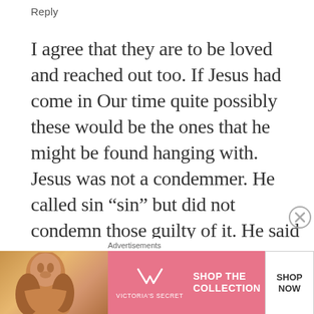Reply
I agree that they are to be loved and reached out too. If Jesus had come in Our time quite possibly these would be the ones that he might be found hanging with. Jesus was not a condemmer. He called sin “sin” but did not condemn those guilty of it. He said that he did not come to condemn but too save. We must find a way to reach out to them. They are in need of rescue but they don’t think they are. The spirit of
Advertisements
[Figure (photo): Victoria's Secret advertisement banner with a woman's photo on the left, pink background with VS logo and 'SHOP THE COLLECTION' text, and a 'SHOP NOW' button on the right.]